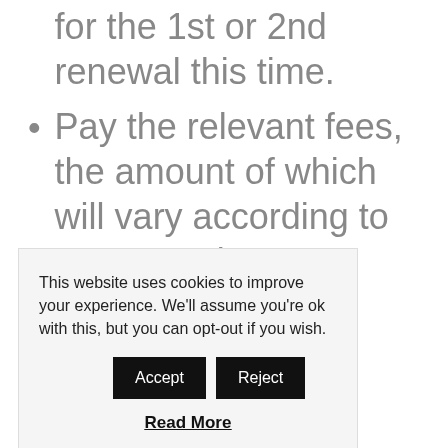for the 1st or 2nd renewal this time.
Pay the relevant fees, the amount of which will vary according to your permit.
Avoid prolonged absences
This website uses cookies to improve your experience. We'll assume you're ok with this, but you can opt-out if you wish.
Read More